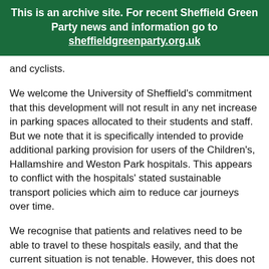This is an archive site. For recent Sheffield Green Party news and information go to sheffieldgreenparty.org.uk
and cyclists.
We welcome the University of Sheffield's commitment that this development will not result in any net increase in parking spaces allocated to their students and staff. But we note that it is specifically intended to provide additional parking provision for users of the Children's, Hallamshire and Weston Park hospitals.  This appears to conflict with the hospitals' stated sustainable transport policies which aim to reduce car journeys over time.
We recognise that patients and relatives need to be able to travel to these hospitals easily, and that the current situation is not tenable.  However, this does not necessitate a large increase in parking provision.  More hospital staff and patients would be able to make use of public transport if